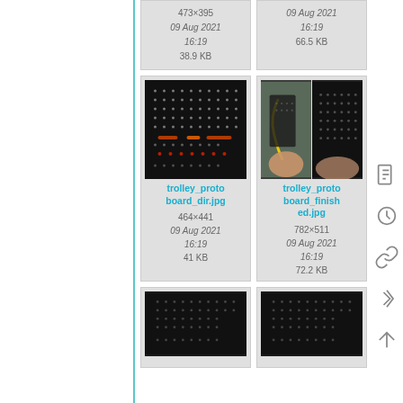[Figure (screenshot): File browser / media gallery showing thumbnail cards of JPG images of a trolley protoboard. Top partial row shows two cards with metadata (473×395, 09 Aug 2021 16:19, 38.9 KB) and (09 Aug 2021 16:19, 66.5 KB). Middle row shows trolley_protoboard_dir.jpg (464×441, 09 Aug 2021 16:19, 41 KB) and trolley_protoboard_finished.jpg (782×511, 09 Aug 2021 16:19, 72.2 KB). Bottom partial row shows two more protoboard thumbnails. Right sidebar has icons.]